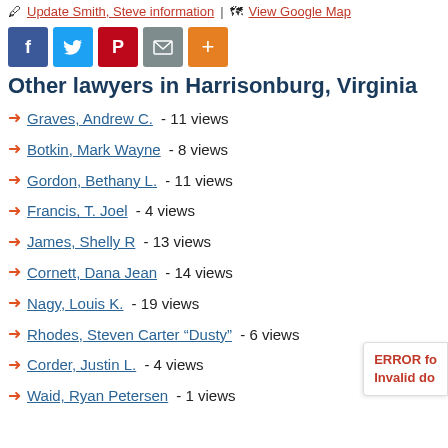Update Smith, Steve information | View Google Map
[Figure (other): Social sharing buttons: Facebook (blue), Twitter (light blue), Pinterest (red), Email (gray), More/Plus (orange)]
Other lawyers in Harrisonburg, Virginia
Graves, Andrew C. - 11 views
Botkin, Mark Wayne - 8 views
Gordon, Bethany L. - 11 views
Francis, T. Joel - 4 views
James, Shelly R - 13 views
Cornett, Dana Jean - 14 views
Nagy, Louis K. - 19 views
Rhodes, Steven Carter “Dusty” - 6 views
Corder, Justin L. - 4 views
Waid, Ryan Petersen - 1 views